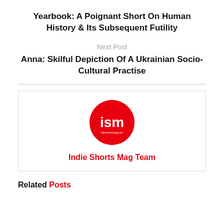Yearbook: A Poignant Short On Human History & Its Subsequent Futility
Next Post
Anna: Skilful Depiction Of A Ukrainian Socio-Cultural Practise
[Figure (logo): Indie Shorts Mag circular red logo with white 'ism' text]
Indie Shorts Mag Team
Related Posts